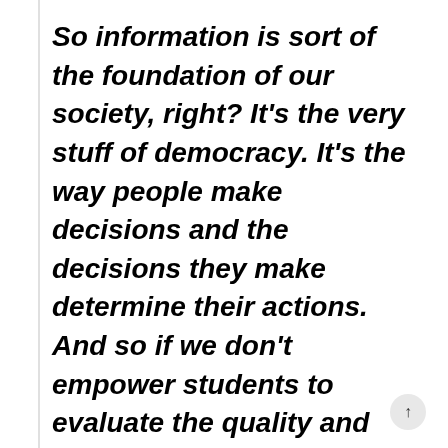So information is sort of the foundation of our society, right? It's the very stuff of democracy. It's the way people make decisions and the decisions they make determine their actions. And so if we don't empower students to evaluate the quality and credibility of the information around them, again we are actively disempowering them or disabling them from making the